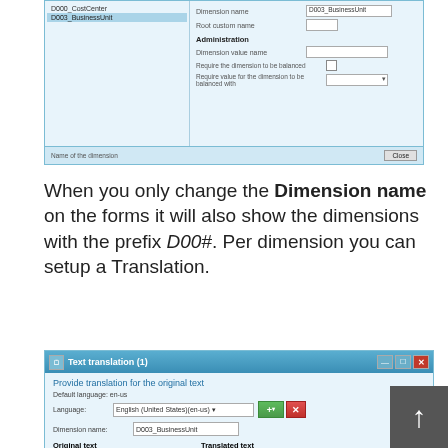[Figure (screenshot): Top portion of a Windows dimension configuration dialog showing D000_CostCenter and D003_BusinessUnit entries in a list, with fields for Dimension value name, Root custom name, Administration section, Dimension value name field, checkboxes for dimension balancing options, and a Close button at the bottom.]
When you only change the Dimension name on the forms it will also show the dimensions with the prefix D00#. Per dimension you can setup a Translation.
[Figure (screenshot): Text translation (1) dialog window showing: header 'Provide translation for the original text', Default language: en-us, Language dropdown with 'English (United States)(en-us)', add and delete buttons, Dimension name field showing 'D003_BusinessUnit', Original text section with Name: D003_BusinessUnit, Translated text section with Name: Business unit]